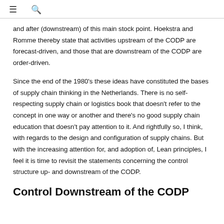☰  🔍
and after (downstream) of this main stock point. Hoekstra and Romme thereby state that activities upstream of the CODP are forecast-driven, and those that are downstream of the CODP are order-driven.
Since the end of the 1980's these ideas have constituted the bases of supply chain thinking in the Netherlands. There is no self-respecting supply chain or logistics book that doesn't refer to the concept in one way or another and there's no good supply chain education that doesn't pay attention to it. And rightfully so, I think, with regards to the design and configuration of supply chains. But with the increasing attention for, and adoption of, Lean principles, I feel it is time to revisit the statements concerning the control structure up- and downstream of the CODP.
Control Downstream of the CODP